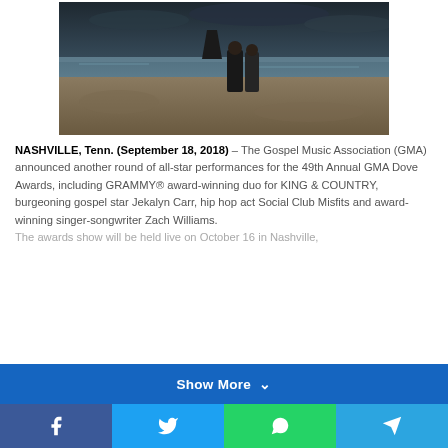[Figure (photo): Two men walking on a rocky coastal landscape with dark cloudy sky, sea in background and a sea stack rock formation]
NASHVILLE, Tenn. (September 18, 2018) – The Gospel Music Association (GMA) announced another round of all-star performances for the 49th Annual GMA Dove Awards, including GRAMMY® award-winning duo for KING & COUNTRY, burgeoning gospel star Jekalyn Carr, hip hop act Social Club Misfits and award-winning singer-songwriter Zach Williams. The awards show will be held live on October 16 in Nashville,
Show More ∨
Facebook, Twitter, WhatsApp, Telegram social share buttons